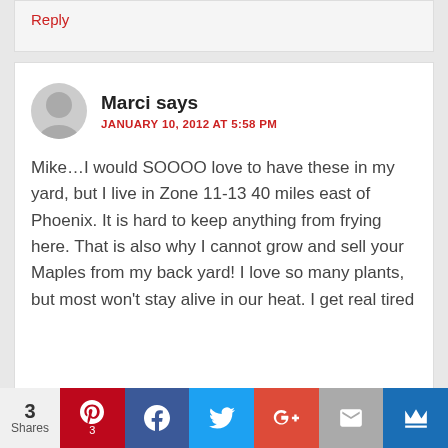Reply
Marci says
JANUARY 10, 2012 AT 5:58 PM
Mike…I would SOOOO love to have these in my yard, but I live in Zone 11-13 40 miles east of Phoenix. It is hard to keep anything from frying here. That is also why I cannot grow and sell your Maples from my back yard! I love so many plants, but most won't stay alive in our heat. I get real tired
3 Shares | Pinterest 3 | Facebook | Twitter | Google+ | Email | Crown